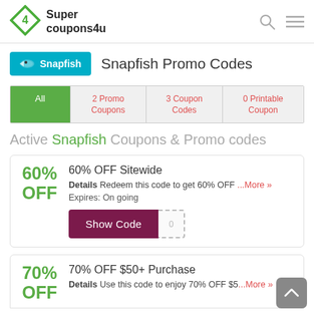Super coupons4u
[Figure (logo): Supercoupons4u logo with green diamond shape and bold text]
Snapfish Promo Codes
All | 2 Promo Coupons | 3 Coupon Codes | 0 Printable Coupon
Active Snapfish Coupons & Promo codes
60% OFF Sitewide
Details Redeem this code to get 60% OFF ...More »
Expires: On going
70% OFF $50+ Purchase
Details Use this code to enjoy 70% OFF $5 ...More »